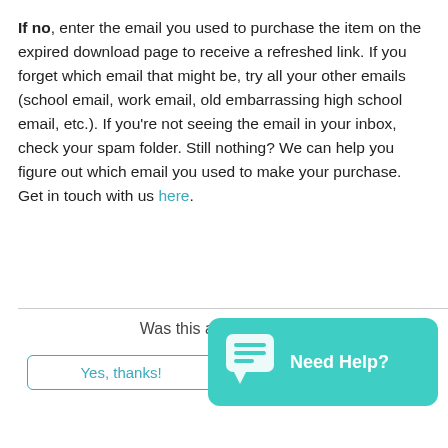If no, enter the email you used to purchase the item on the expired download page to receive a refreshed link. If you forget which email that might be, try all your other emails (school email, work email, old embarrassing high school email, etc.). If you're not seeing the email in your inbox, check your spam folder. Still nothing? We can help you figure out which email you used to make your purchase. Get in touch with us here.
[Figure (other): Teal chat widget button with speech bubble icon and text 'Need Help?']
Was this article helpful?
Yes, thanks! | Not really